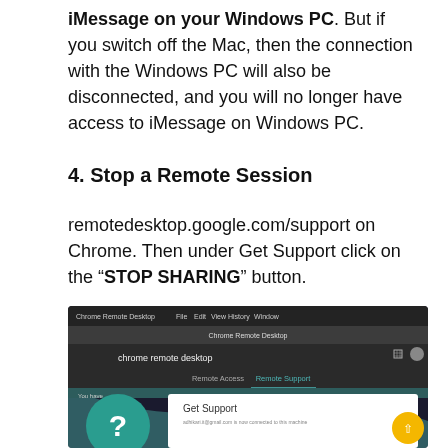iMessage on your Windows PC. But if you switch off the Mac, then the connection with the Windows PC will also be disconnected, and you will no longer have access to iMessage on Windows PC.
4. Stop a Remote Session
remotedesktop.google.com/support on Chrome. Then under Get Support click on the “STOP SHARING” button.
[Figure (screenshot): Screenshot of Chrome Remote Desktop app showing the Remote Support tab with a 'Get Support' panel, a teal question mark icon, and a yellow scroll-to-top button.]